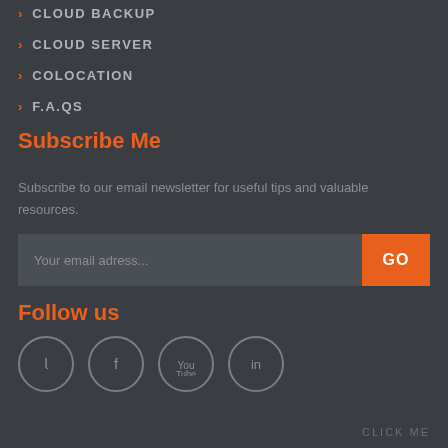CLOUD BACKUP
CLOUD SERVER
COLOCATION
F.A.Qs
Subscribe Me
Subscribe to our email newsletter for useful tips and valuable resources.
Your email adress...
Follow us
[Figure (infographic): Social media icons in circles: Twitter, Facebook, YouTube, LinkedIn]
CLICK ME